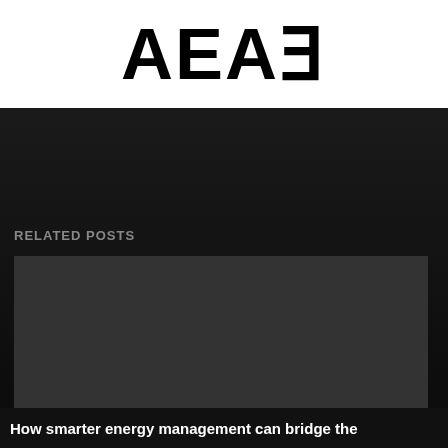AEAE
RELATED POSTS
[Figure (photo): Dark placeholder image area for a related post thumbnail]
How smarter energy management can bridge the